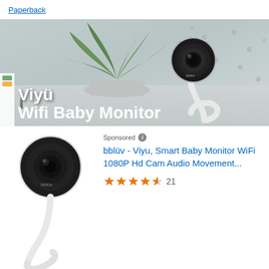Paperback
[Figure (photo): Banner advertisement showing bblüv Viyü Wifi Baby Monitor. Background shows a potted green plant and a white smart camera on a flexible gooseneck stand. Overlay text reads 'Viyü' and 'Wifi Baby Monitor' with bblüv logo on the left side. Color palette is grey/silver tones.]
[Figure (photo): Product image of bblüv Viyu smart baby monitor camera — round black camera head on a white flexible gooseneck stand, shown on white background.]
Sponsored
bblüv - Viyu, Smart Baby Monitor WiFi 1080P Hd Cam Audio Movement...
21 (4.5 out of 5 stars, 21 reviews)